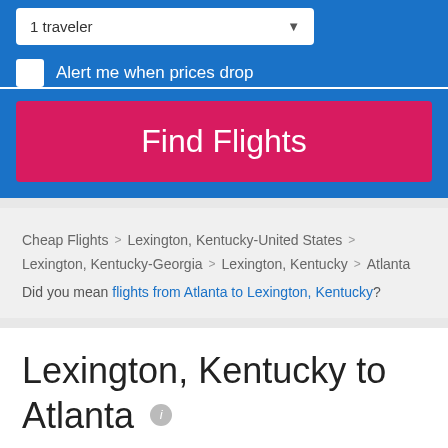1 traveler
Alert me when prices drop
Find Flights
Cheap Flights > Lexington, Kentucky-United States > Lexington, Kentucky-Georgia > Lexington, Kentucky > Atlanta
Did you mean flights from Atlanta to Lexington, Kentucky?
Lexington, Kentucky to Atlanta
We've scanned 31,729 round trip itineraries and found